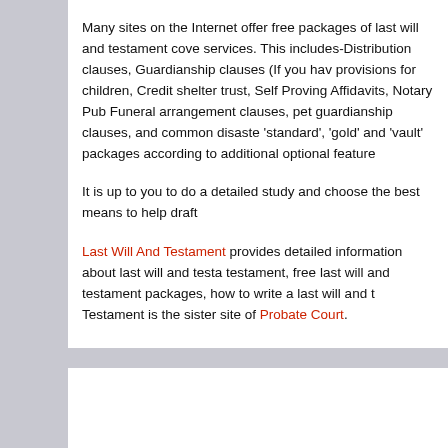Many sites on the Internet offer free packages of last will and testament coverage services. This includes-Distribution clauses, Guardianship clauses (If you have provisions for children, Credit shelter trust, Self Proving Affidavits, Notary Public, Funeral arrangement clauses, pet guardianship clauses, and common disaster clauses. 'standard', 'gold' and 'vault' packages according to additional optional features.
It is up to you to do a detailed study and choose the best means to help draft.
Last Will And Testament provides detailed information about last will and testament, free last will and testament packages, how to write a last will and testament. Last Will And Testament is the sister site of Probate Court.